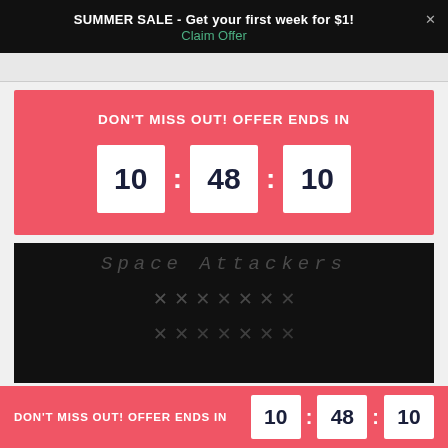SUMMER SALE - Get your first week for $1! Claim Offer
[Figure (screenshot): Partial view of a webpage header with logo/navigation]
DON'T MISS OUT! OFFER ENDS IN
10 : 48 : 10
[Figure (screenshot): Space Attackers game screenshot showing alien invaders in rows on dark background]
DON'T MISS OUT! OFFER ENDS IN 10 : 48 : 10